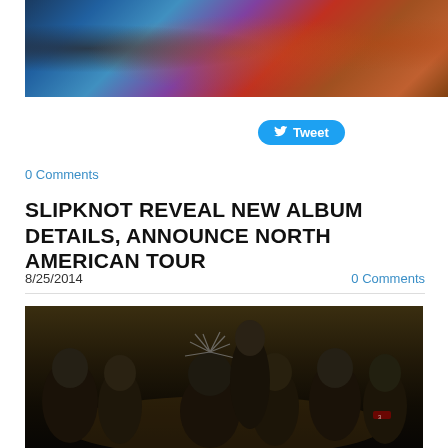[Figure (photo): Top banner image with abstract dark blue and red artistic imagery]
Tweet
0 Comments
SLIPKNOT REVEAL NEW ALBUM DETAILS, ANNOUNCE NORTH AMERICAN TOUR
8/25/2014
0 Comments
[Figure (photo): Group photo of Slipknot band members wearing their signature masks and costumes against a dark background]